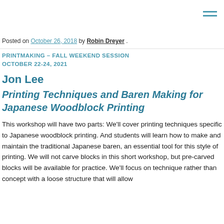☰ (hamburger menu icon)
Posted on October 26, 2018 by Robin Dreyer .
PRINTMAKING – FALL WEEKEND SESSION
OCTOBER 22-24, 2021
Jon Lee
Printing Techniques and Baren Making for Japanese Woodblock Printing
This workshop will have two parts: We'll cover printing techniques specific to Japanese woodblock printing. And students will learn how to make and maintain the traditional Japanese baren, an essential tool for this style of printing. We will not carve blocks in this short workshop, but pre-carved blocks will be available for practice. We'll focus on technique rather than concept with a loose structure that will allow